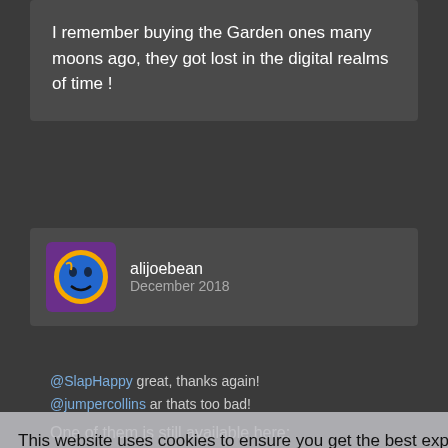I remember buying the Garden ones many moons ago, they got lost in the digital realms of time !
alijoebean
December 2018
@SlapHappy great, thanks again!
@jumpercollins ar thats too bad!
This website uses cookies to ensure you get the best experience on our website.
Learn more
Will
December 2018 · edited December 2018
Got it!
One of them is still available here: